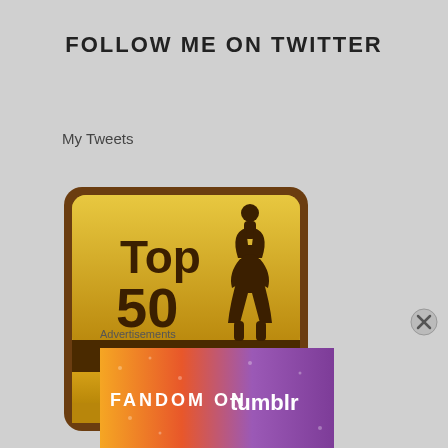FOLLOW ME ON TWITTER
My Tweets
[Figure (illustration): Top 50 Mommy Blogger badge from Thoroughly Reviewed — gold square badge with rounded corners, silhouette of mother lifting child, bold text 'Top 50' and banner reading 'Mommy Blogger', cursive text 'Thoroughly Reviewed' at bottom]
Advertisements
[Figure (illustration): Fandom on Tumblr advertisement banner — colorful gradient background from orange/yellow to purple with doodle icons, text 'FANDOM ON tumblr']